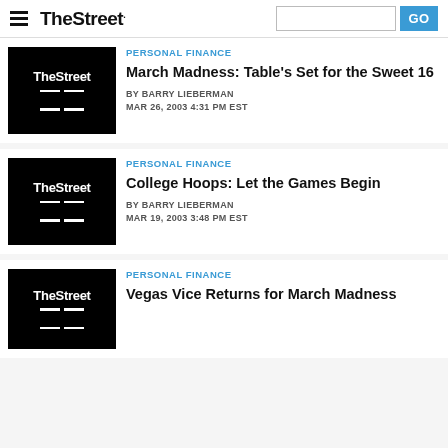TheStreet
[Figure (logo): TheStreet logo thumbnail image - black background with white TheStreet text]
PERSONAL FINANCE
March Madness: Table's Set for the Sweet 16
BY BARRY LIEBERMAN
MAR 26, 2003 4:31 PM EST
[Figure (logo): TheStreet logo thumbnail image - black background with white TheStreet text]
PERSONAL FINANCE
College Hoops: Let the Games Begin
BY BARRY LIEBERMAN
MAR 19, 2003 3:48 PM EST
[Figure (logo): TheStreet logo thumbnail image - black background with white TheStreet text]
PERSONAL FINANCE
Vegas Vice Returns for March Madness